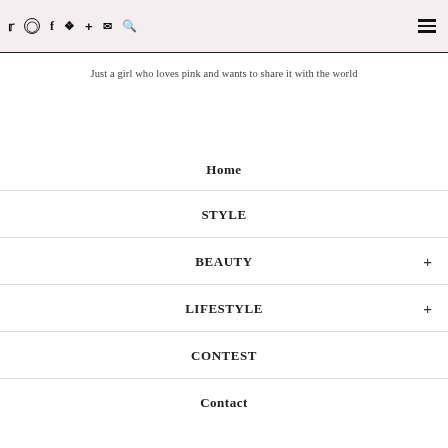Social icons: Twitter, Instagram, Facebook, Pinterest, Plus, Email, Search | Hamburger menu
Just a girl who loves pink and wants to share it with the world
Home
STYLE
BEAUTY +
LIFESTYLE +
CONTEST
Contact